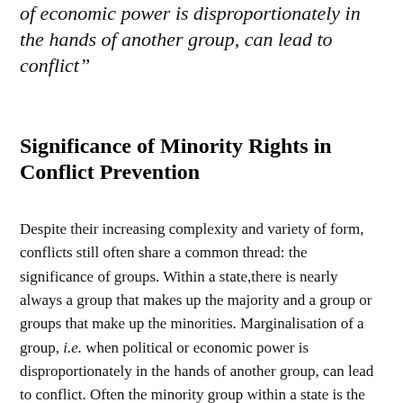of economic power is disproportionately in the hands of another group, can lead to conflict"
Significance of Minority Rights in Conflict Prevention
Despite their increasing complexity and variety of form, conflicts still often share a common thread: the significance of groups. Within a state,there is nearly always a group that makes up the majority and a group or groups that make up the minorities. Marginalisation of a group, i.e. when political or economic power is disproportionately in the hands of another group, can lead to conflict. Often the minority group within a state is the marginalized group.